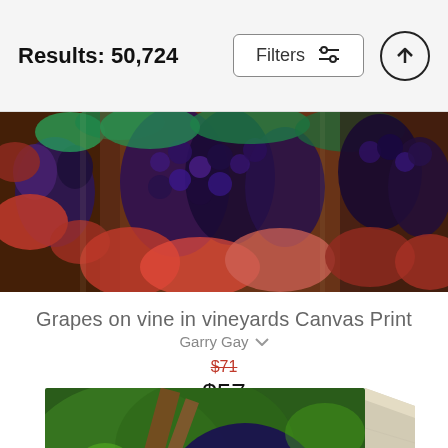Results: 50,724
Filters
[Figure (photo): Wide banner photo of dark purple grapes clustered on vines with red and green autumn leaves in a vineyard setting]
Grapes on vine in vineyards Canvas Print
Garry Gay
$71 (strikethrough) $57
[Figure (photo): Canvas print product photo showing a close-up of dark blue/purple grapes on a vine with green leaves, presented as a wrapped canvas with visible side edge]